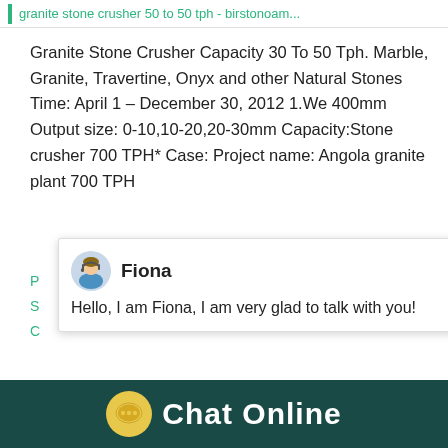granite stone crusher 50 to 50 tph - birstonoam...
Granite Stone Crusher Capacity 30 To 50 Tph. Marble, Granite, Travertine, Onyx and other Natural Stones Time: April 1 – December 30, 2012 1.We 400mm Output size: 0-10,10-20,20-30mm Capacity:Stone crusher 700 TPH* Case: Project name: Angola granite plant 700 TPH
[Figure (screenshot): Chat popup with agent avatar of Fiona and message: Hello, I am Fiona, I am very glad to talk with you!]
Finished product fineness:0-10mm,10-20mm
[Figure (photo): Granite stone crusher machine against blue sky background]
[Figure (screenshot): Chat widget with badge showing number 1 and Click me to chat>> button]
Chat Online